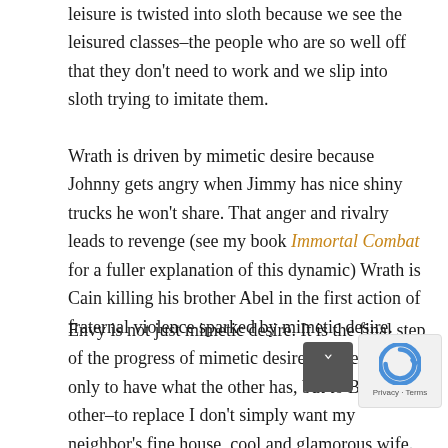leisure is twisted into sloth because we see the leisured classes–the people who are so well off that they don't need to work and we slip into sloth trying to imitate them.
Wrath is driven by mimetic desire because Johnny gets angry when Jimmy has nice shiny trucks he won't share. That anger and rivalry leads to revenge (see my book Immortal Combat for a fuller explanation of this dynamic) Wrath is Cain killing his brother Abel in the first action of fraternal violence sparked by mimetic desire.
Envy is not just mimetic desire. It is the final step of the progress of mimetic desire: the desire not only to have what the other has, but to BE the other–to replace I don't simply want my neighbor's fine house, cool and glamorous wife. Mimetic desire fully blown is that I